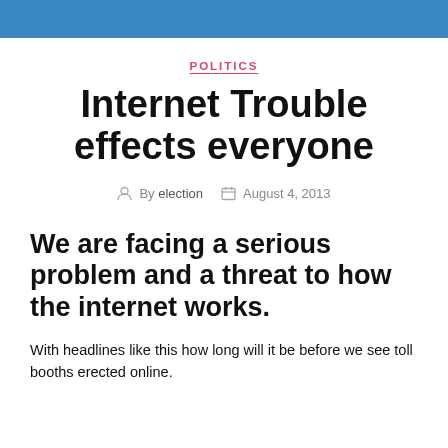POLITICS
Internet Trouble effects everyone
By election   August 4, 2013
We are facing a serious problem and a threat to how the internet works.
With headlines like this how long will it be before we see toll booths erected online.